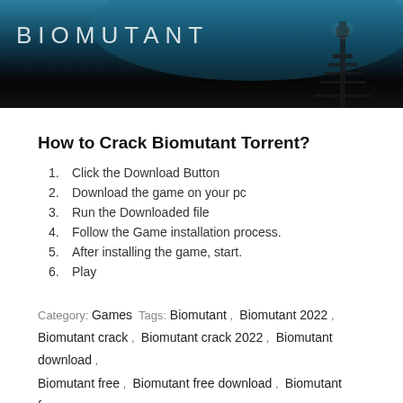[Figure (screenshot): Dark atmospheric game banner image with the BIOMUTANT logo in white spaced letters on a teal/dark blue background, with a silhouette of a character/tower on the right side]
How to Crack Biomutant Torrent?
1. Click the Download Button
2. Download the game on your pc
3. Run the Downloaded file
4. Follow the Game installation process.
5. After installing the game, start.
6. Play
Category: Games Tags: Biomutant, Biomutant 2022, Biomutant crack, Biomutant crack 2022, Biomutant download, Biomutant free, Biomutant free download, Biomutant free